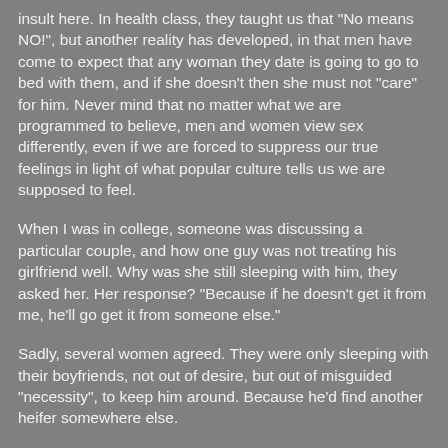insult here. In health class, they taught us that "No means NO!", but another reality has developed, in that men have come to expect that any woman they date is going to go to bed with them, and if she doesn't then she must not "care" for him. Never mind that no matter what we are programmed to believe, men and women view sex differently, even if we are forced to suppress our true feelings in light of what popular culture tells us we are supposed to feel.
When I was in college, someone was discussing a particular couple, and how one guy was not treating his girlfriend well. Why was she still sleeping with him, they asked her. Her response? "Because if he doesn't get it from me, he'll go get it from someone else."
Sadly, several women agreed. They were only sleeping with their boyfriends, not out of desire, but out of misguided "necessity", to keep him around. Because he'd find another heifer somewhere else.
Yup. I said "heifer", because that's how women are behaving these days.